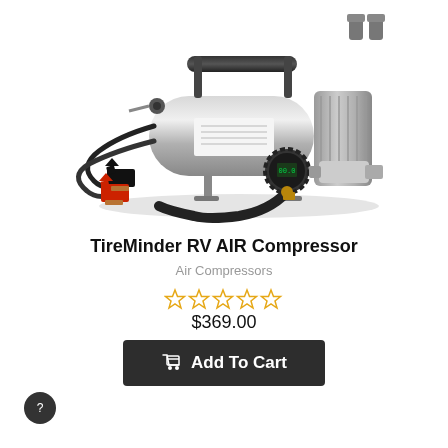[Figure (photo): TireMinder RV AIR Compressor product photo showing a silver/chrome portable air compressor with black handle, battery clamp cables (red and black), a black hose with brass fitting, digital pressure gauge, and air chuck/inflator attachment]
TireMinder RV AIR Compressor
Air Compressors
☆☆☆☆☆ (5 empty stars rating)
$369.00
Add To Cart